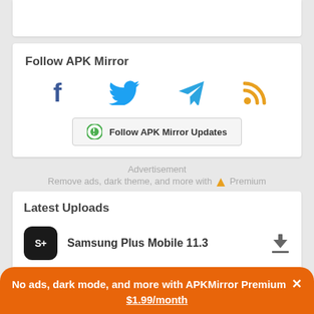Follow APK Mirror
[Figure (illustration): Social media follow buttons: Facebook, Twitter, Telegram, RSS Feed icons, and a Follow APK Mirror Updates button]
Advertisement
Remove ads, dark theme, and more with Premium
Latest Uploads
Samsung Plus Mobile 11.3
No ads, dark mode, and more with APKMirror Premium × $1.99/month